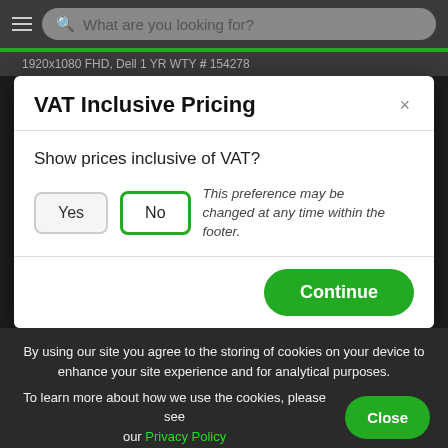What are you looking for?
1920x1080 FHD, Dell 1 YR WTY # 154278
VAT Inclusive Pricing
Show prices inclusive of VAT?
Yes  No   This preference may be changed at any time within the footer.
Continue
By using our site you agree to the storing of cookies on your device to enhance your site experience and for analytical purposes.
To learn more about how we use the cookies, please see our Privacy Policy
Close